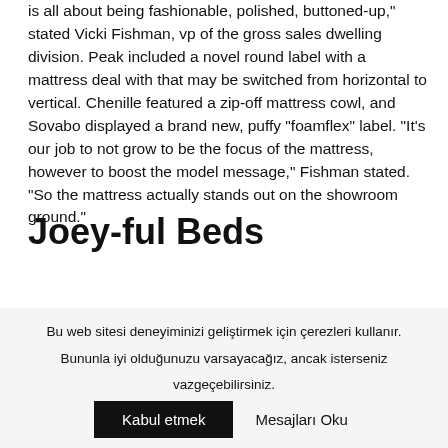is all about being fashionable, polished, buttoned-up," stated Vicki Fishman, vp of the gross sales dwelling division. Peak included a novel round label with a mattress deal with that may be switched from horizontal to vertical. Chenille featured a zip-off mattress cowl, and Sovabo displayed a brand new, puffy “foamflex” label. “It’s our job to not grow to be the focus of the mattress, however to boost the model message,” Fishman stated. “So the mattress actually stands out on the showroom ground.”
Joey-ful Beds
For the primary time, Innofa has begun doing its personal lamination and making its personal mattress protectors. The
Bu web sitesi deneyiminizi geliştirmek için çerezleri kullanır. Bununla iyi olduğunuzu varsayacağız, ancak isterseniz vazgeçebilirsiniz. Kabul etmek Mesajları Oku